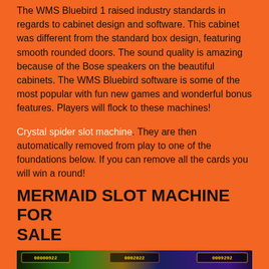The WMS Bluebird 1 raised industry standards in regards to cabinet design and software. This cabinet was different from the standard box design, featuring smooth rounded doors. The sound quality is amazing because of the Bose speakers on the beautiful cabinets. The WMS Bluebird software is some of the most popular with fun new games and wonderful bonus features. Players will flock to these machines!
Crystal spider slot machine. They are then automatically removed from play to one of the foundations below. If you can remove all the cards you will win a round!
MERMAID SLOT MACHINE FOR SALE
[Figure (photo): Colorful underwater-themed slot machine game screenshot showing scores/counters at the top reading 00000922, 0002022, and 0009292 with ocean/mermaid themed graphics below]